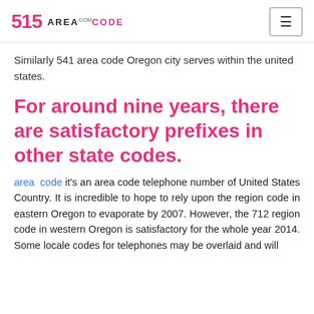515 AREACODE.com
Similarly 541 area code Oregon city serves within the united states.
For around nine years, there are satisfactory prefixes in other state codes.
area code it's an area code telephone number of United States Country. It is incredible to hope to rely upon the region code in eastern Oregon to evaporate by 2007. However, the 712 region code in western Oregon is satisfactory for the whole year 2014. Some locale codes for telephones may be overlaid and will